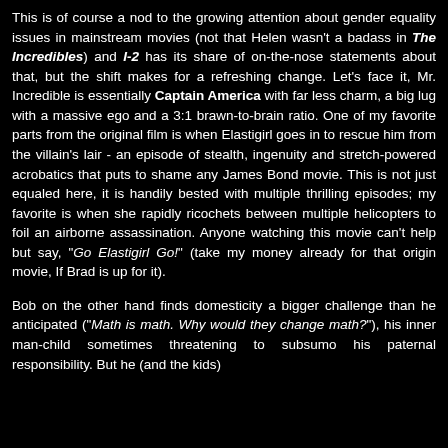This is of course a nod to the growing attention about gender equality issues in mainstream movies (not that Helen wasn't a badass in The Incredibles) and I-2 has its share of on-the-nose statements about that, but the shift makes for a refreshing change. Let's face it, Mr. Incredible is essentially Captain America with far less charm, a big lug with a massive ego and a 3:1 brawn-to-brain ratio. One of my favorite parts from the original film is when Elastigirl goes in to rescue him from the villain's lair - an episode of stealth, ingenuity and stretch-powered acrobatics that puts to shame any James Bond movie. This is not just equaled here, it is handily bested with multiple thrilling episodes; my favorite is when she rapidly ricochets between multiple helicopters to foil an airborne assassination. Anyone watching this movie can't help but say, "Go Elastigirl Go!" (take my money already for that origin movie, If Brad is up for it).
Bob on the other hand finds domesticity a bigger challenge than he anticipated ("Math is math. Why would they change math?"), his inner man-child sometimes threatening to subsumo his paternal responsibility. But he (and the kids)